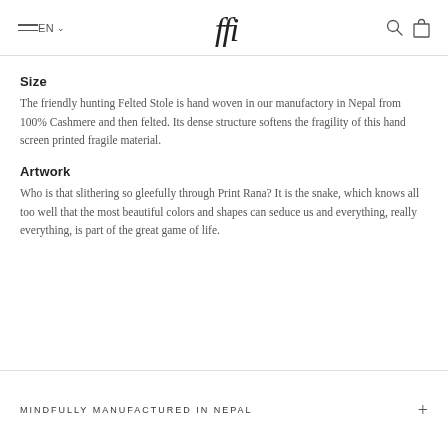EN  [logo]  [search] [bag]
Size
The friendly hunting Felted Stole is hand woven in our manufactory in Nepal from 100% Cashmere and then felted. Its dense structure softens the fragility of this hand screen printed fragile material.
Artwork
Who is that slithering so gleefully through Print Rana? It is the snake, which knows all too well that the most beautiful colors and shapes can seduce us and everything, really everything, is part of the great game of life.
MINDFULLY MANUFACTURED IN NEPAL